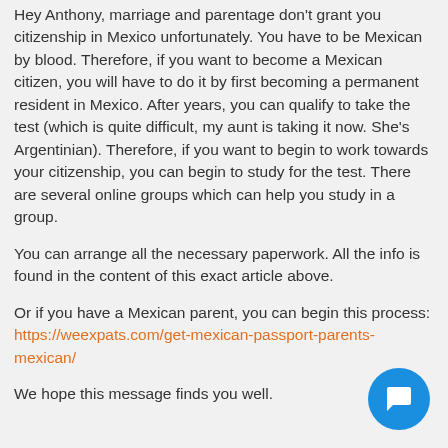Hey Anthony, marriage and parentage don't grant you citizenship in Mexico unfortunately. You have to be Mexican by blood. Therefore, if you want to become a Mexican citizen, you will have to do it by first becoming a permanent resident in Mexico. After years, you can qualify to take the test (which is quite difficult, my aunt is taking it now. She's Argentinian). Therefore, if you want to begin to work towards your citizenship, you can begin to study for the test. There are several online groups which can help you study in a group.
You can arrange all the necessary paperwork. All the info is found in the content of this exact article above.
Or if you have a Mexican parent, you can begin this process: https://weexpats.com/get-mexican-passport-parents-mexican/
We hope this message finds you well.